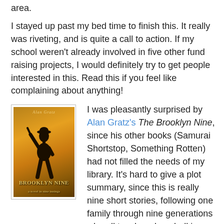area.
I stayed up past my bed time to finish this. It really was riveting, and is quite a call to action. If my school weren't already involved in five other fund raising projects, I would definitely try to get people interested in this. Read this if you feel like complaining about anything!
[Figure (photo): Book cover of 'Brooklyn Nine' by Alan Gratz featuring a silhouette of a baseball player against a warm orange/golden sky background]
I was pleasantly surprised by Alan Gratz's The Brooklyn Nine, since his other books (Samurai Shortstop, Something Rotten) had not filled the needs of my library. It's hard to give a plot summary, since this is really nine short stories, following one family through nine generations who all touch on baseball in Brooklyn. It touched on a variety of social problems, especially race, that changed through the years. I especially liked the way that women's baseball during World War II was brought into the picture. This was informative without being preachy, had enough actual sport to keep baseball fans reading, and would be a great book for boys who need to read historical